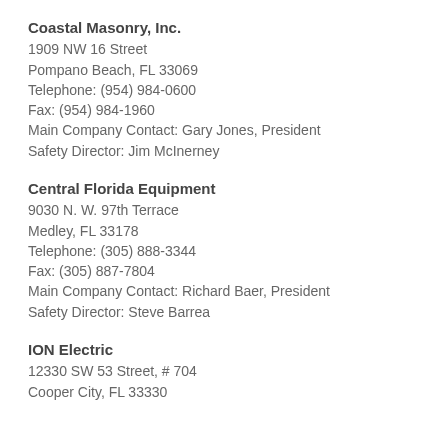Coastal Masonry, Inc.
1909 NW 16 Street
Pompano Beach, FL 33069
Telephone: (954) 984-0600
Fax: (954) 984-1960
Main Company Contact: Gary Jones, President
Safety Director: Jim McInerney
Central Florida Equipment
9030 N. W. 97th Terrace
Medley, FL 33178
Telephone: (305) 888-3344
Fax: (305) 887-7804
Main Company Contact: Richard Baer, President
Safety Director: Steve Barrea
ION Electric
12330 SW 53 Street, # 704
Cooper City, FL 33330